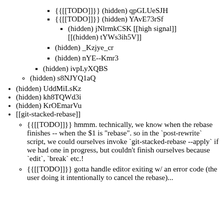{{[[TODO]]}} (hidden) qpGLUeSJH
{{[[TODO]]}} (hidden) YAvE73rSf
(hidden) jNlrmkCSK [[high signal]] [[(hidden) tYWs3ih5V]]
(hidden) _Kzjye_cr
(hidden) nYE--Kmr3
(hidden) ivpLyXQBS
(hidden) s8NJYQ1aQ
(hidden) UddMiLsKz
(hidden) kh8TQWd3i
(hidden) KrOEmarVu
[[git-stacked-rebase]]
{{[[TODO]]}} hmmm. technically, we know when the rebase finishes -- when the $1 is "rebase". so in the `post-rewrite` script, we could ourselves invoke `git-stacked-rebase --apply` if we had one in progress, but couldn't finish ourselves because `edit`, `break` etc.!
{{[[TODO]]}} gotta handle editor exiting w/ an error code (the user doing it intentionally to cancel the rebase)...